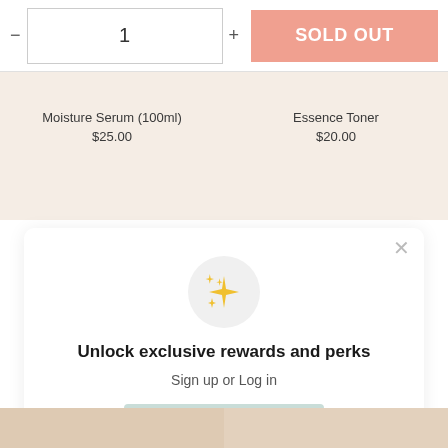[Figure (screenshot): E-commerce product page top bar with quantity selector showing '1', minus and plus buttons, and a salmon-colored 'SOLD OUT' button]
Moisture Serum (100ml)
$25.00
Essence Toner
$20.00
[Figure (screenshot): Modal popup with sparkle emoji icon in a light gray circle, title 'Unlock exclusive rewards and perks', subtitle 'Sign up or Log in', a teal Sign up button, and 'Already have an account? Sign in' text]
Unlock exclusive rewards and perks
Sign up or Log in
Sign up
Already have an account? Sign in